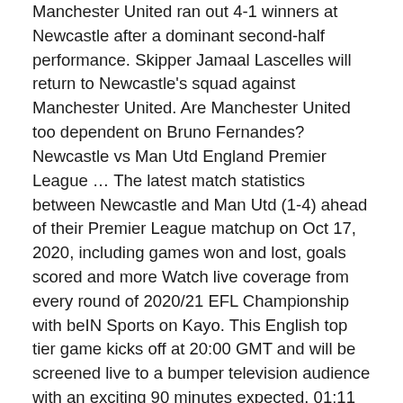Manchester United ran out 4-1 winners at Newcastle after a dominant second-half performance. Skipper Jamaal Lascelles will return to Newcastle's squad against Manchester United. Are Manchester United too dependent on Bruno Fernandes? Newcastle vs Man Utd England Premier League … The latest match statistics between Newcastle and Man Utd (1-4) ahead of their Premier League matchup on Oct 17, 2020, including games won and lost, goals scored and more Watch live coverage from every round of 2020/21 EFL Championship with beIN Sports on Kayo. This English top tier game kicks off at 20:00 GMT and will be screened live to a bumper television audience with an exciting 90 minutes expected. 01:11 Iconic Moment: Five-star Newcastle beat Man Utd 20/10/2020 CC AD 01:07 Flashback: Longstaff's dream debut goal v Man Utd 15/10/2020 CC AD 01:55 Flashback: Brilliant Scholes hat-trick at Newcastle 15/10/2020 CC AD New to Kayo? Check out our Premier League fixtures and … When is Newcastle v Man Utd on TV? Congratulations to him to be first to save a penalty in the Premier League from me.